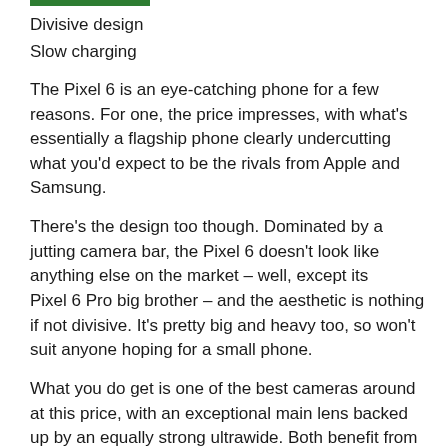Divisive design
Slow charging
The Pixel 6 is an eye-catching phone for a few reasons. For one, the price impresses, with what's essentially a flagship phone clearly undercutting what you'd expect to be the rivals from Apple and Samsung.
There's the design too though. Dominated by a jutting camera bar, the Pixel 6 doesn't look like anything else on the market – well, except its Pixel 6 Pro big brother – and the aesthetic is nothing if not divisive. It's pretty big and heavy too, so won't suit anyone hoping for a small phone.
What you do get is one of the best cameras around at this price, with an exceptional main lens backed up by an equally strong ultrawide. Both benefit from a few